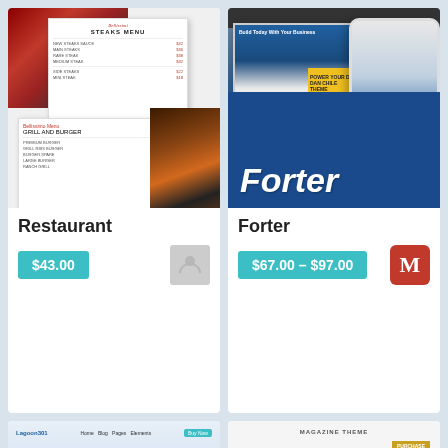[Figure (screenshot): Restaurant WordPress theme preview showing food photography and menu pages]
Restaurant
$43.00
[Figure (screenshot): Forter WordPress theme preview showing business website on desktop and mobile devices with bold italic Forter title on blue background]
Forter
$67.00 – $97.00
[Figure (screenshot): Lagoon Divi Design theme preview showing colorful gradient design with wheelchair accessibility icon and text: Present Your Software to the World With Lagoon for Divi]
[Figure (screenshot): Magazine-style theme preview showing photo grid layout with person and landscape photos]